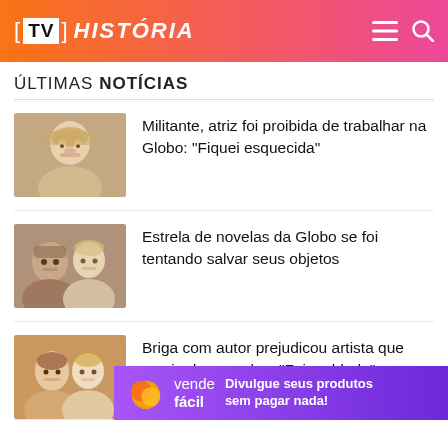[TV] HISTÓRIA
ÚLTIMAS NOTÍCIAS
[Figure (photo): Photo of a blonde woman, appears to be an older actress]
Militante, atriz foi proibida de trabalhar na Globo: “Fiquei esquecida”
[Figure (photo): Photo of a man and a blonde woman, novela actors]
Estrela de novelas da Globo se foi tentando salvar seus objetos
[Figure (photo): Photo of two people, a woman and a man, actors]
Briga com autor prejudicou artista que sumiu das novelas: “Foi maldade”
[Figure (infographic): Advertisement banner: vende fácil - Divulgue seus produtos sem pagar nada!]